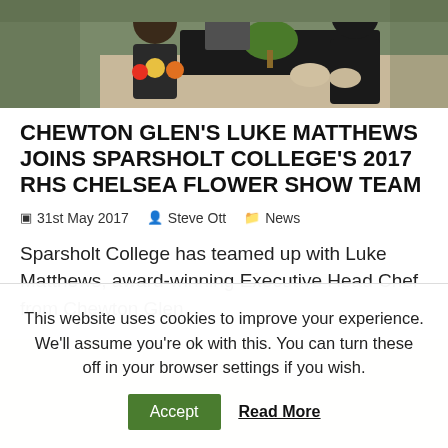[Figure (photo): Kitchen scene with people cooking, ingredients visible including fruits and vegetables on counter]
CHEWTON GLEN'S LUKE MATTHEWS JOINS SPARSHOLT COLLEGE'S 2017 RHS CHELSEA FLOWER SHOW TEAM
31st May 2017  Steve Ott  News
Sparsholt College has teamed up with Luke Matthews, award-winning Executive Head Chef from Chewton Glen
This website uses cookies to improve your experience. We'll assume you're ok with this. You can turn these off in your browser settings if you wish.
Accept  Read More